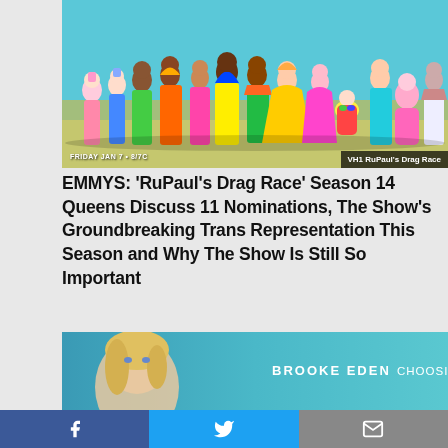[Figure (photo): Group photo of RuPaul's Drag Race Season 14 queens in colorful costumes on a blue background. Text overlay: 'FRIDAY JAN 7 • 8/7C' and 'VH1 RuPaul's Drag Race']
EMMYS: 'RuPaul's Drag Race' Season 14 Queens Discuss 11 Nominations, The Show's Groundbreaking Trans Representation This Season and Why The Show Is Still So Important
[Figure (photo): Brooke Eden album cover image on teal background with text: 'BROOKE EDEN CHOOSING YOU']
f  (Twitter bird icon)  (email icon)